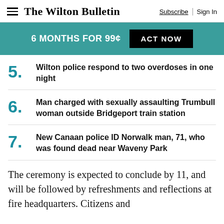The Wilton Bulletin | Subscribe | Sign In
6 MONTHS FOR 99¢ ACT NOW
5. Wilton police respond to two overdoses in one night
6. Man charged with sexually assaulting Trumbull woman outside Bridgeport train station
7. New Canaan police ID Norwalk man, 71, who was found dead near Waveny Park
The ceremony is expected to conclude by 11, and will be followed by refreshments and reflections at fire headquarters. Citizens and